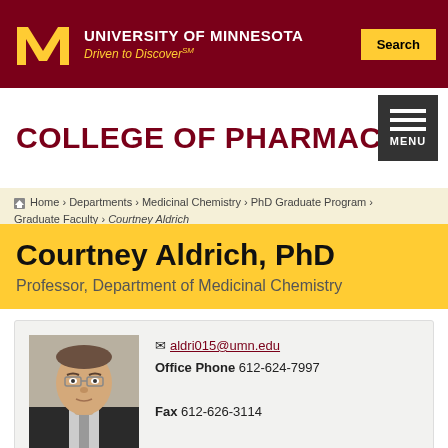University of Minnesota — Driven to Discover℠
COLLEGE OF PHARMACY
Home › Departments › Medicinal Chemistry › PhD Graduate Program › Graduate Faculty › Courtney Aldrich
Courtney Aldrich, PhD
Professor, Department of Medicinal Chemistry
[Figure (photo): Headshot of Courtney Aldrich, a man in a dark suit jacket with glasses]
aldri015@umn.edu
Office Phone 612-624-7997
Fax 612-626-3114
Office Address:
8-123 Weaver-Densford Hall